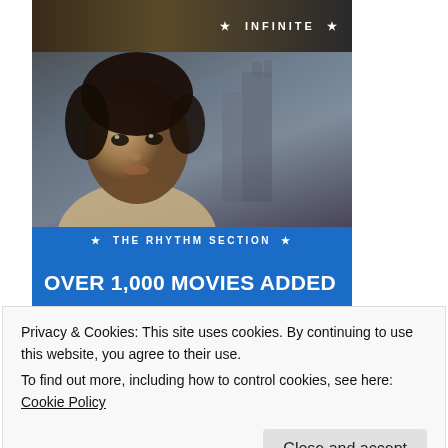[Figure (photo): Movie banner showing 'INFINITE' text on dark strip at top, then a movie poster area for 'THE RHYTHM SECTION' showing a young woman's face with dramatic dark background, followed by blue banner reading 'OVER 1,000 MOVIES ADDED' and 'STREAMING ON Paramount+' logo]
Privacy & Cookies: This site uses cookies. By continuing to use this website, you agree to their use.
To find out more, including how to control cookies, see here: Cookie Policy
Close and accept
SITEGROUND WEB HOSTING